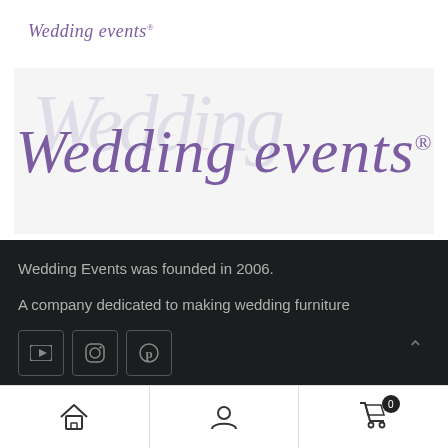Wedding events®
[Figure (logo): Wedding events® script logo in purple on light background with watermark]
Wedding Events was founded in 2006.
A company dedicated to making wedding furniture
[Figure (other): Social media icons: YouTube, Instagram, Pinterest in bordered square buttons]
Useful Links
[Figure (other): Bottom navigation bar with home, user, and cart (0) icons]